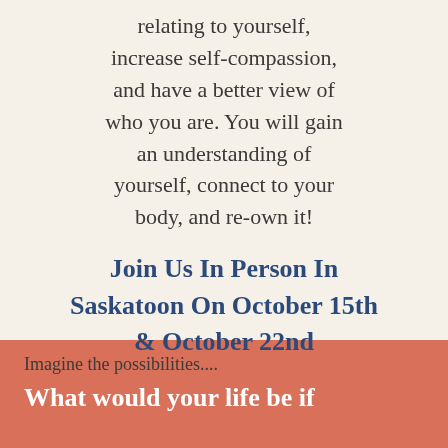relating to yourself, increase self-compassion, and have a better view of who you are. You will gain an understanding of yourself, connect to your body, and re-own it!
Join Us In Person In Saskatoon On October 15th & October 22nd
Imagine the possibilities....
What would your life be if